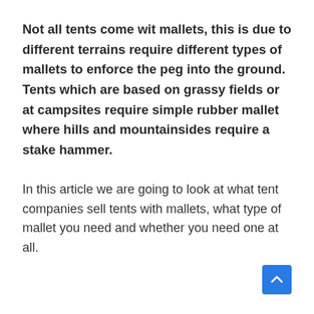Not all tents come wit mallets, this is due to different terrains require different types of mallets to enforce the peg into the ground. Tents which are based on grassy fields or at campsites require simple rubber mallet where hills and mountainsides require a stake hammer.
In this article we are going to look at what tent companies sell tents with mallets, what type of mallet you need and whether you need one at all.